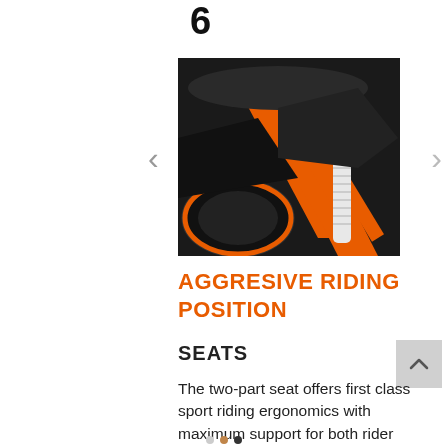[Figure (photo): Close-up photo of a KTM motorcycle showing the orange frame, seat, rear suspension and tire]
AGGRESIVE RIDING POSITION
SEATS
The two-part seat offers first class sport riding ergonomics with maximum support for both rider